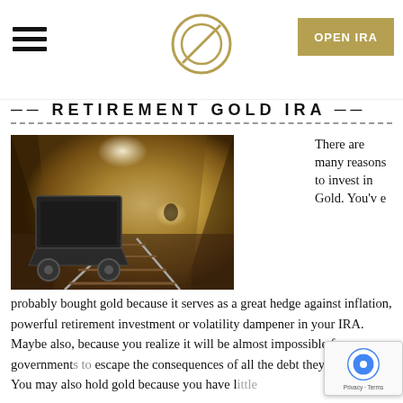[Figure (logo): Circular logo with stylized letter or symbol, gold/tan outline on white background]
OPEN IRA
RETIREMENT GOLD IRA
[Figure (photo): A mining tunnel interior with a mine cart on tracks, lit by overhead lights, earthy golden-brown tones]
There are many reasons to invest in Gold. You've probably bought gold because it serves as a great hedge against inflation, powerful retirement investment or volatility dampener in your IRA. Maybe also, because you realize it will be almost impossible for governments to escape the consequences of all the debt they've amassed. You may also hold gold because you have little